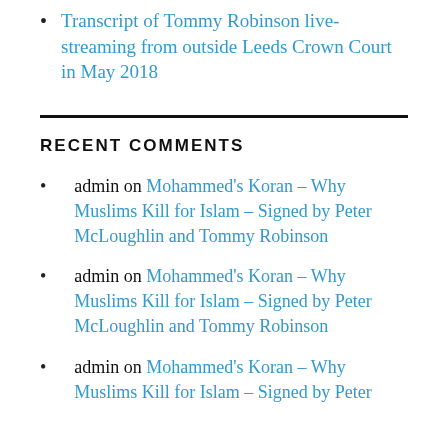Transcript of Tommy Robinson live-streaming from outside Leeds Crown Court in May 2018
RECENT COMMENTS
admin on Mohammed's Koran – Why Muslims Kill for Islam – Signed by Peter McLoughlin and Tommy Robinson
admin on Mohammed's Koran – Why Muslims Kill for Islam – Signed by Peter McLoughlin and Tommy Robinson
admin on Mohammed's Koran – Why Muslims Kill for Islam – Signed by Peter